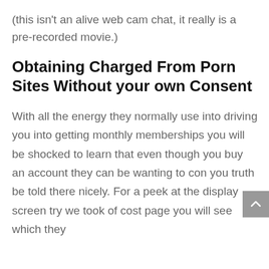(this isn't an alive web cam chat, it really is a pre-recorded movie.)
Obtaining Charged From Porn Sites Without your own Consent
With all the energy they normally use into driving you into getting monthly memberships you will be shocked to learn that even though you buy an account they can be wanting to con you truth be told there nicely. For a peek at the display screen try we took of cost page you will see which they